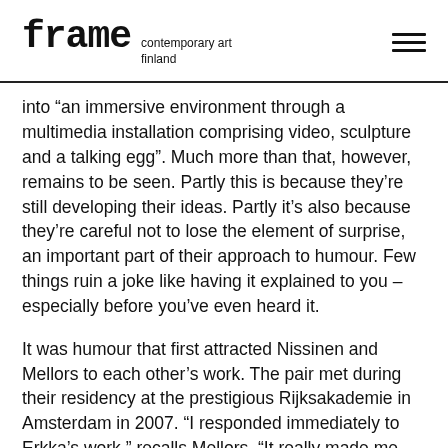frame contemporary art finland
into “an immersive environment through a multimedia installation comprising video, sculpture and a talking egg”. Much more than that, however, remains to be seen. Partly this is because they’re still developing their ideas. Partly it’s also because they’re careful not to lose the element of surprise, an important part of their approach to humour. Few things ruin a joke like having it explained to you – especially before you’ve even heard it.
It was humour that first attracted Nissinen and Mellors to each other’s work. The pair met during their residency at the prestigious Rijksakademie in Amsterdam in 2007. “I responded immediately to Erkka’s work,” recalls Mellors. “It really made me laugh. There was something about his sensibility or attitude that I felt an immediate connection with. We have a shared interest in the grotesque and a sense of the